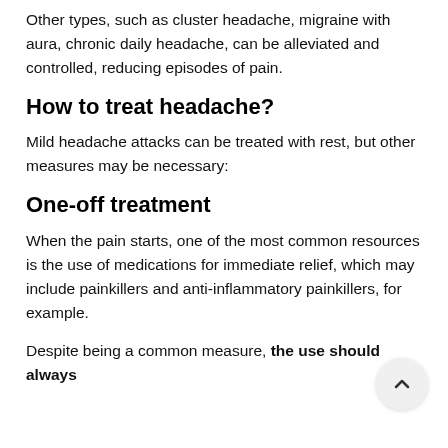Other types, such as cluster headache, migraine with aura, chronic daily headache, can be alleviated and controlled, reducing episodes of pain.
How to treat headache?
Mild headache attacks can be treated with rest, but other measures may be necessary:
One-off treatment
When the pain starts, one of the most common resources is the use of medications for immediate relief, which may include painkillers and anti-inflammatory painkillers, for example.
Despite being a common measure, the use should always